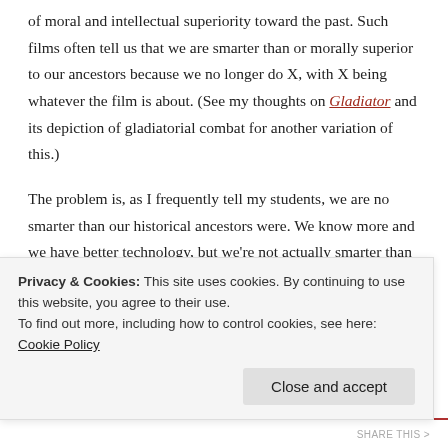of moral and intellectual superiority toward the past. Such films often tell us that we are smarter than or morally superior to our ancestors because we no longer do X, with X being whatever the film is about. (See my thoughts on Gladiator and its depiction of gladiatorial combat for another variation of this.)
The problem is, as I frequently tell my students, we are no smarter than our historical ancestors were. We know more and we have better technology, but we're not actually smarter than they are. What looks to us as stupidity and barbarity is actually just a different culture acting on different assumptions and different bodies of knowledge than we use. In 200 years, I
Privacy & Cookies: This site uses cookies. By continuing to use this website, you agree to their use.
To find out more, including how to control cookies, see here: Cookie Policy
Close and accept